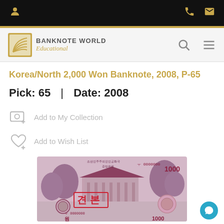Banknote World Educational — navigation bar with logo, search and menu icons
Korea/North 2,000 Won Banknote, 2008, P-65
Pick: 65  |  Date: 2008
Add to My Collection
Add to Wish List
[Figure (photo): North Korea 1000 Won specimen banknote (2008), showing Korean text, a traditional building with trees, serial number 11 0000000, and a red specimen overprint in Korean characters.]